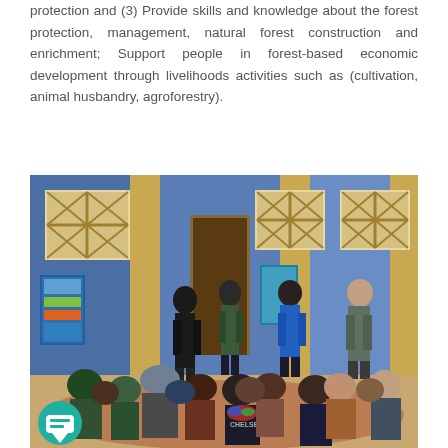protection and (3) Provide skills and knowledge about the forest protection, management, natural forest construction and enrichment; Support people in forest-based economic development through livelihoods activities such as (cultivation, animal husbandry, agroforestry).
[Figure (photo): A group of people sitting on the floor in a circle inside a blue-walled community building. Several people are standing and presenting. A poster is displayed on a wall. One person in the foreground wears a jacket labeled CHELSEA. A teal chat icon is visible in the bottom-left corner.]